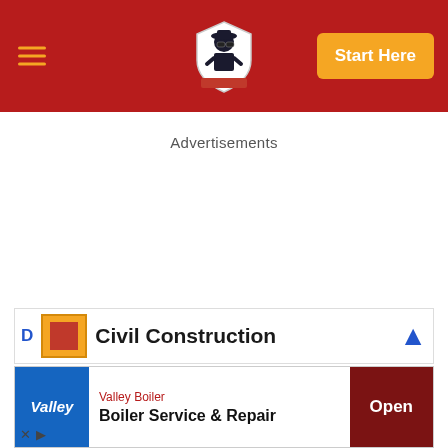Start Here
Advertisements
[Figure (screenshot): Civil Construction advertisement banner with orange/red logo and blue arrow icon]
[Figure (screenshot): Valley Boiler - Boiler Service & Repair advertisement with Open button]